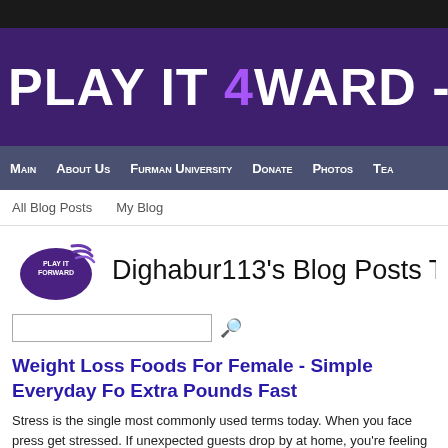PLAY IT 4WARD - SAN
Main  About Us  Furman University  Donate  Photos  Tea
All Blog Posts  My Blog
Dighabur113's Blog Posts Tagg
Weight Loss Foods For Female - Simple Everyday Fo Extra Pounds Fast
Stress is the single most commonly used terms today. When you face press get stressed. If unexpected guests drop by at home, you're feeling stressed yourself in the middle of a celebration, you feel exhausted. Most of us have home and work, and sometimes it gets extreme amount to handle.